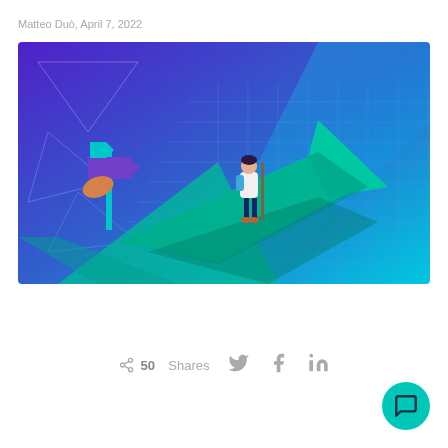Matteo Duò, April 7, 2022
[Figure (illustration): Isometric illustration of a person standing on a large teal directional arrow pointer against a purple-to-blue gradient background with grid lines and geometric shapes. A signpost is visible on the left side.]
50  Shares
[Figure (infographic): Social share icons: Twitter bird, Facebook f, LinkedIn in]